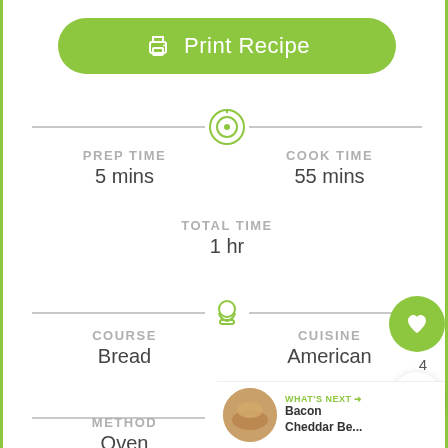Print Recipe
PREP TIME
5 mins
COOK TIME
55 mins
TOTAL TIME
1 hr
COURSE
Bread
CUISINE
American
METHOD
Oven
SERVINGS
12 makes 1 loaf
WHAT'S NEXT → Bacon Cheddar Be...